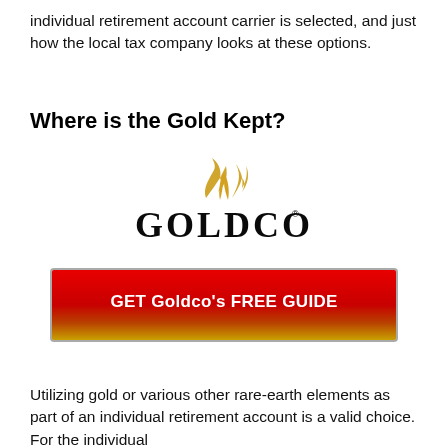individual retirement account carrier is selected, and just how the local tax company looks at these options.
Where is the Gold Kept?
[Figure (logo): Goldco company logo with stylized flame/swirl above the text GOLDCO with a registered trademark symbol]
[Figure (infographic): Red-to-gold gradient button reading GET Goldco's FREE GUIDE in bold white text]
Utilizing gold or various other rare-earth elements as part of an individual retirement account is a valid choice. For the individual